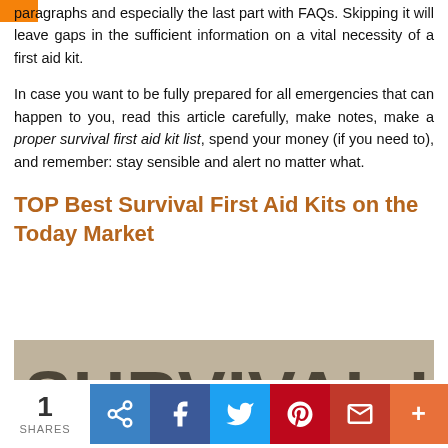paragraphs and especially the last part with FAQs. Skipping it will leave gaps in the sufficient information on a vital necessity of a first aid kit.
In case you want to be fully prepared for all emergencies that can happen to you, read this article carefully, make notes, make a proper survival first aid kit list, spend your money (if you need to), and remember: stay sensible and alert no matter what.
TOP Best Survival First Aid Kits on the Today Market
[Figure (photo): A grungy stencil-style image showing the text SURVIVAL KIT in large bold distressed letters on a weathered background.]
1 SHARES [share buttons: link, facebook, twitter, pinterest, gmail, more]